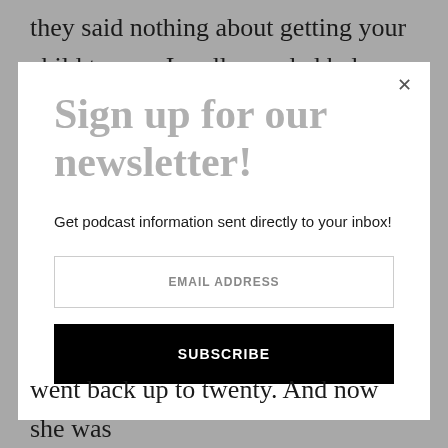they said nothing about getting your child to nap. I really needed help. But all kids are so
[Figure (screenshot): Newsletter signup modal overlay with title 'Sign up for our newsletter!', body text 'Get podcast information sent directly to your inbox!', an email address input field, and a black SUBSCRIBE button. A close (×) button is in the top-right corner.]
went back up to twenty. And now she was